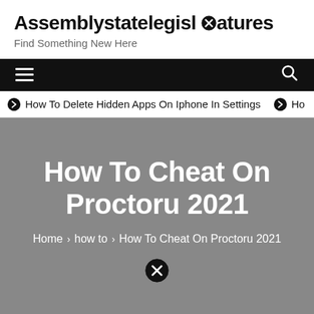Assemblystatelegislatures — Find Something New Here
How To Delete Hidden Apps On Iphone In Settings  ❯  Ho
How To Cheat On Proctoru 2021
Home › how to › How To Cheat On Proctoru 2021